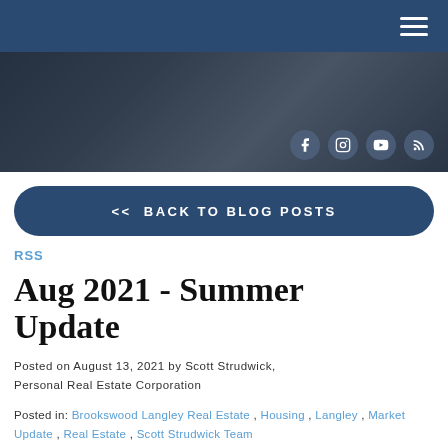Navigation header with hamburger menu
[Figure (photo): Hero banner image showing interior/exterior real estate scene with dark overlay and social media icons (Facebook, Instagram, YouTube, RSS)]
<< BACK TO BLOG POSTS
RSS
Aug 2021 - Summer Update
Posted on August 13, 2021 by Scott Strudwick, Personal Real Estate Corporation
Posted in: Brookswood Langley Real Estate , Housing , Langley , Market Update , Real Estate , Scott Strudwick Team